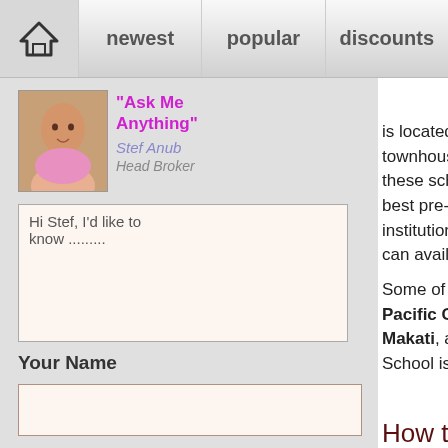home | newest | popular | discounts
[Figure (photo): Photo of Stef Anub, Head Broker, smiling woman in pink]
"Ask Me Anything" Stef Anub Head Broker
Hi Stef,  I'd like to know .........
Your Name
Your Email *
is located near schools, universities, and townhouses in the area, this is not quite these schools to maximize their marketa best pre-school, elementary, and high sc institutions.  There are even universities can avail of.  Makati townhomes have th
Some of the schools that are near townh Pacific College, Colegio San Agustin, Makati, and Assumption College.  The School is also there for secondary schoo
How to Purchase a Townhous
Availing of a townhouse in Makati will lar course your preferences.  You also need permanent) location within a highly urbar of the townhouse should be taken into ac retirement house outside the city, since M urbanized areas.